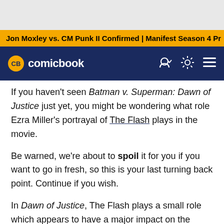Jon Moxley vs. CM Punk II Confirmed | Manifest Season 4 Pr
If you haven't seen Batman v. Superman: Dawn of Justice just yet, you might be wondering what role Ezra Miller's portrayal of The Flash plays in the movie.
Be warned, we're about to spoil it for you if you want to go in fresh, so this is your last turning back point. Continue if you wish.
In Dawn of Justice, The Flash plays a small role which appears to have a major impact on the future of DC Comics films. He has been discovered by Lex Luthor's research and caught on camera but also interacted with Bruce Wayne in